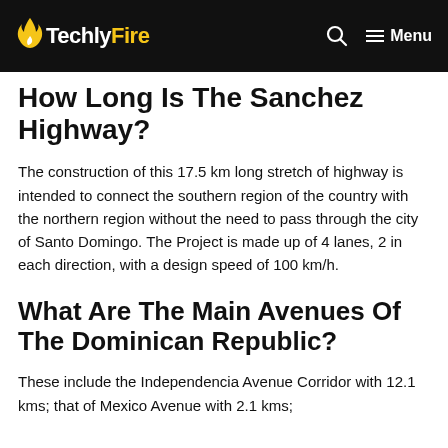TechlyFire — Menu
How Long Is The Sanchez Highway?
The construction of this 17.5 km long stretch of highway is intended to connect the southern region of the country with the northern region without the need to pass through the city of Santo Domingo. The Project is made up of 4 lanes, 2 in each direction, with a design speed of 100 km/h.
What Are The Main Avenues Of The Dominican Republic?
These include the Independencia Avenue Corridor with 12.1 kms; that of Mexico Avenue with 2.1 kms;